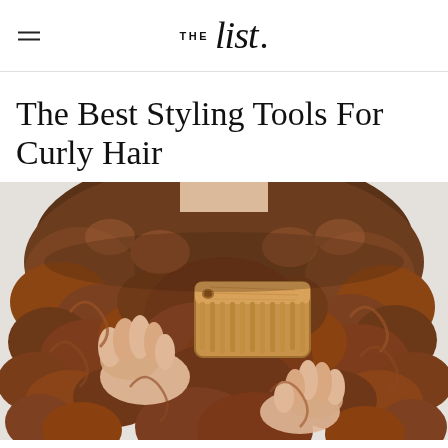THE list.
The Best Styling Tools For Curly Hair
[Figure (photo): A person with voluminous curly brown hair holding a wooden wide-tooth comb up near their hair, shown from the shoulders up against a light grey-white background.]